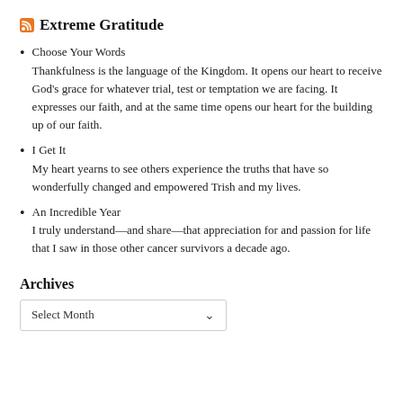Extreme Gratitude
Choose Your Words
Thankfulness is the language of the Kingdom. It opens our heart to receive God's grace for whatever trial, test or temptation we are facing. It expresses our faith, and at the same time opens our heart for the building up of our faith.
I Get It
My heart yearns to see others experience the truths that have so wonderfully changed and empowered Trish and my lives.
An Incredible Year
I truly understand—and share—that appreciation for and passion for life that I saw in those other cancer survivors a decade ago.
Archives
Select Month